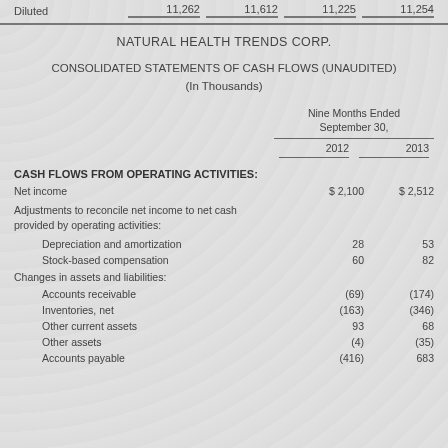Diluted   11,262   11,612   11,225   11,254
NATURAL HEALTH TRENDS CORP.
CONSOLIDATED STATEMENTS OF CASH FLOWS (UNAUDITED)
(In Thousands)
|  | Nine Months Ended September 30, 2012 | Nine Months Ended September 30, 2013 |
| --- | --- | --- |
| CASH FLOWS FROM OPERATING ACTIVITIES: |  |  |
| Net income | $ 2,100 | $ 2,512 |
| Adjustments to reconcile net income to net cash provided by operating activities: |  |  |
| Depreciation and amortization | 28 | 53 |
| Stock-based compensation | 60 | 82 |
| Changes in assets and liabilities: |  |  |
| Accounts receivable | (69) | (174) |
| Inventories, net | (163) | (346) |
| Other current assets | 93 | 68 |
| Other assets | (4) | (35) |
| Accounts payable | (416) | 683 |